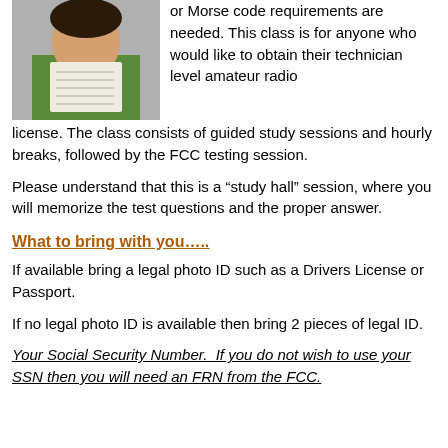[Figure (photo): Person in green shirt holding a paper/document]
or Morse code requirements are needed. This class is for anyone who would like to obtain their technician level amateur radio license. The class consists of guided study sessions and hourly breaks, followed by the FCC testing session.
Please understand that this is a “study hall” session, where you will memorize the test questions and the proper answer.
What to bring with you…..
If available bring a legal photo ID such as a Drivers License or Passport.
If no legal photo ID is available then bring 2 pieces of legal ID.
Your Social Security Number.  If you do not wish to use your SSN then you will need an FRN from the FCC.